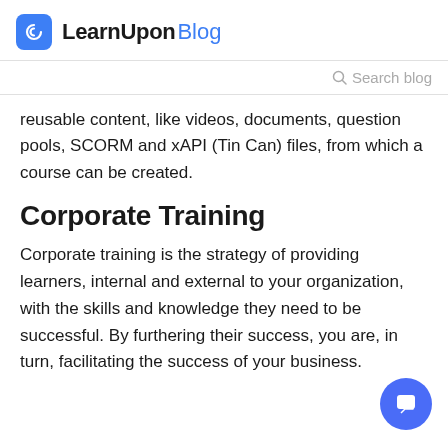LearnUpon Blog
Search blog
reusable content, like videos, documents, question pools, SCORM and xAPI (Tin Can) files, from which a course can be created.
Corporate Training
Corporate training is the strategy of providing learners, internal and external to your organization, with the skills and knowledge they need to be successful. By furthering their success, you are, in turn, facilitating the success of your business.